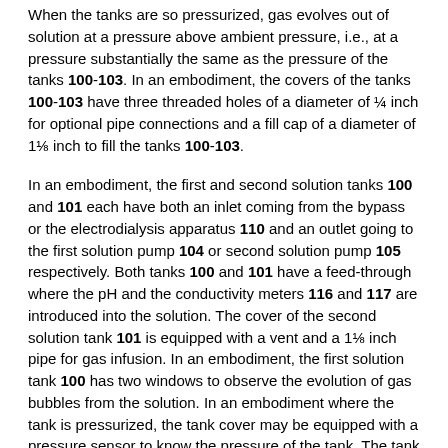When the tanks are so pressurized, gas evolves out of solution at a pressure above ambient pressure, i.e., at a pressure substantially the same as the pressure of the tanks 100-103. In an embodiment, the covers of the tanks 100-103 have three threaded holes of a diameter of ¼ inch for optional pipe connections and a fill cap of a diameter of 1⅛ inch to fill the tanks 100-103.
In an embodiment, the first and second solution tanks 100 and 101 each have both an inlet coming from the bypass or the electrodialysis apparatus 110 and an outlet going to the first solution pump 104 or second solution pump 105 respectively. Both tanks 100 and 101 have a feed-through where the pH and the conductivity meters 116 and 117 are introduced into the solution. The cover of the second solution tank 101 is equipped with a vent and a 1⅛ inch pipe for gas infusion. In an embodiment, the first solution tank 100 has two windows to observe the evolution of gas bubbles from the solution. In an embodiment where the tank is pressurized, the tank cover may be equipped with a pressure sensor to know the pressure of the tank. The tank may also be equipped with two vents: one that leads the gas to a valve and a flow meter in order to regulate and measure the flow of gas evolving from the solution and